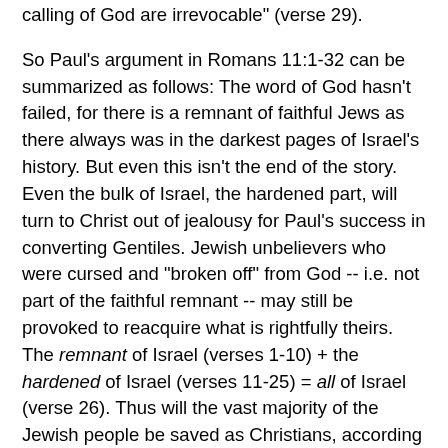calling of God are irrevocable" (verse 29).
So Paul's argument in Romans 11:1-32 can be summarized as follows: The word of God hasn't failed, for there is a remnant of faithful Jews as there always was in the darkest pages of Israel's history. But even this isn't the end of the story. Even the bulk of Israel, the hardened part, will turn to Christ out of jealousy for Paul's success in converting Gentiles. Jewish unbelievers who were cursed and "broken off" from God -- i.e. not part of the faithful remnant -- may still be provoked to reacquire what is rightfully theirs. The remnant of Israel (verses 1-10) + the hardened of Israel (verses 11-25) = all of Israel (verse 26). Thus will the vast majority of the Jewish people be saved as Christians, according to Paul.
The rest of the sermon is a personalized homily of verses 30-36 which I, in turn, will skip over...
Conclusion
What's the lesson here? The news is good and bad. On the